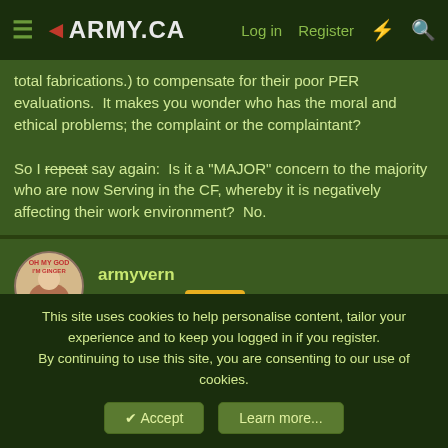ARMY.CA — Log in | Register
total fabrications.) to compensate for their poor PER evaluations.  It makes you wonder who has the moral and ethical problems; the complaint or the complaintant?

So I repeat say again:  Is it a "MAJOR" concern to the majority who are now Serving in the CF, whereby it is negatively affecting their work environment?  No.
armyvern
Army.ca Myth  Mentor
12 Jan 2008   #42
Enough already.
This site uses cookies to help personalise content, tailor your experience and to keep you logged in if you register.
By continuing to use this site, you are consenting to our use of cookies.